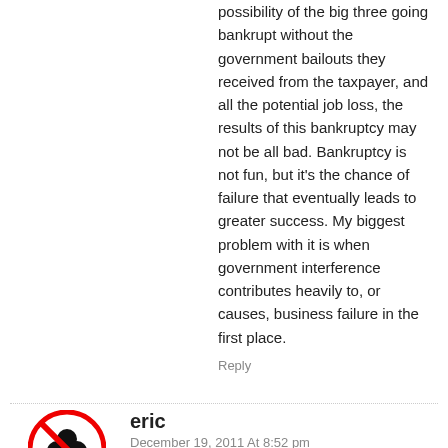possibility of the big three going bankrupt without the government bailouts they received from the taxpayer, and all the potential job loss, the results of this bankruptcy may not be all bad. Bankruptcy is not fun, but it's the chance of failure that eventually leads to greater success. My biggest problem with it is when government interference contributes heavily to, or causes, business failure in the first place.
Reply
eric
December 19, 2011 At 8:52 pm
I need to go back and check to make sure, but if I am remembering it right, Saab was using (is using) a GM engine in at least one model, the current 9-5. I assume under license. I'm not sure why it would be a legitimate intellectual property issue, if some